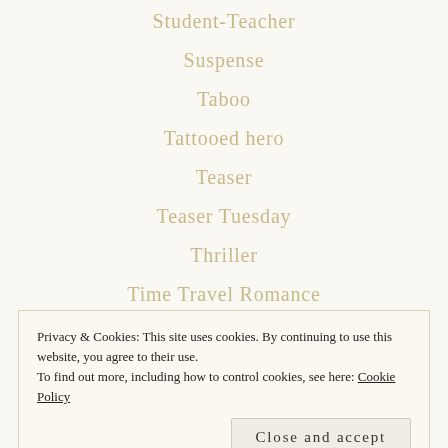Student-Teacher
Suspense
Taboo
Tattooed hero
Teaser
Teaser Tuesday
Thriller
Time Travel Romance
Trailer Reveal
Privacy & Cookies: This site uses cookies. By continuing to use this website, you agree to their use. To find out more, including how to control cookies, see here: Cookie Policy
Women's Fiction